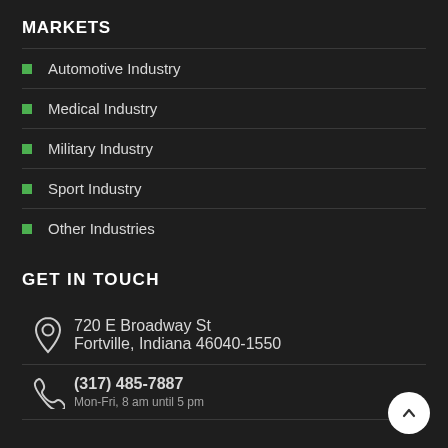MARKETS
Automotive Industry
Medical Industry
Military Industry
Sport Industry
Other Industries
GET IN TOUCH
720 E Broadway St
Fortville, Indiana 46040-1550
(317) 485-7887
Mon-Fri, 8 am until 5 pm